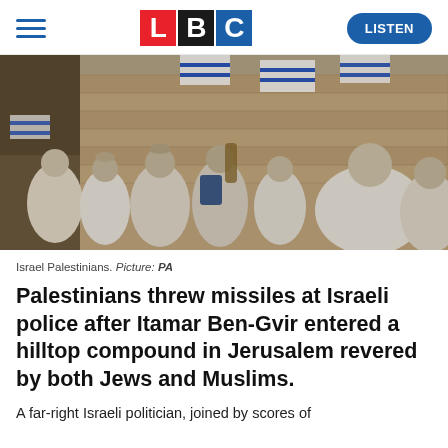LBC — LISTEN
[Figure (photo): Group of people in white garments waving Israeli flags near a stone wall]
Israel Palestinians. Picture: PA
Palestinians threw missiles at Israeli police after Itamar Ben-Gvir entered a hilltop compound in Jerusalem revered by both Jews and Muslims.
A far-right Israeli politician, joined by scores of